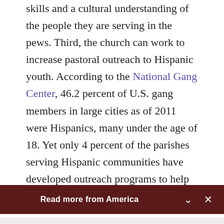skills and a cultural understanding of the people they are serving in the pews. Third, the church can work to increase pastoral outreach to Hispanic youth. According to the National Gang Center, 46.2 percent of U.S. gang members in large cities as of 2011 were Hispanics, many under the age of 18. Yet only 4 percent of the parishes serving Hispanic communities have developed outreach programs to help youth
[Figure (screenshot): Dark maroon banner reading 'Read more from America' with a chevron-down icon and an X close icon on the right.]
[Figure (screenshot): Card with black-and-white photo of two men (C.S. Lewis and J.R.R. Tolkien) on left, and article title 'C. S. Lewis, J. R. R. Tolkien and the Inklings: Telling...' with author 'Rachel Lu' in dark red on the right. Left and right navigation arrows flank the card.]